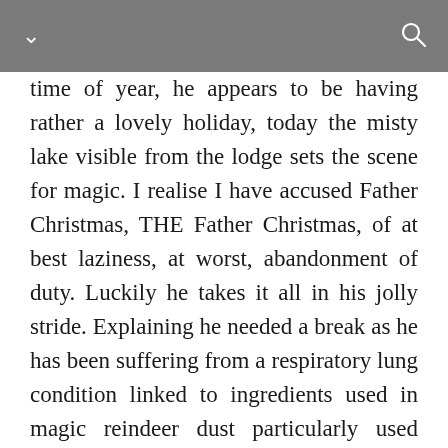time of year, he appears to be having rather a lovely holiday, today the misty lake visible from the lodge sets the scene for magic. I realise I have accused Father Christmas, THE Father Christmas, of at best laziness, at worst, abandonment of duty. Luckily he takes it all in his jolly stride. Explaining he needed a break as he has been suffering from a respiratory lung condition linked to ingredients used in magic reindeer dust particularly used back in the 70’s that we now know to be hazardous. He looks svelter than I was expecting, maybe he has taken up some of the more adventurous activities on